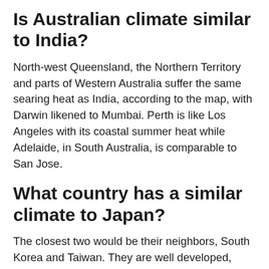Is Australian climate similar to India?
North-west Queensland, the Northern Territory and parts of Western Australia suffer the same searing heat as India, according to the map, with Darwin likened to Mumbai. Perth is like Los Angeles with its coastal summer heat while Adelaide, in South Australia, is comparable to San Jose.
What country has a similar climate to Japan?
The closest two would be their neighbors, South Korea and Taiwan. They are well developed, democratic East Asian countries that share the same basic climate zone with Japan.